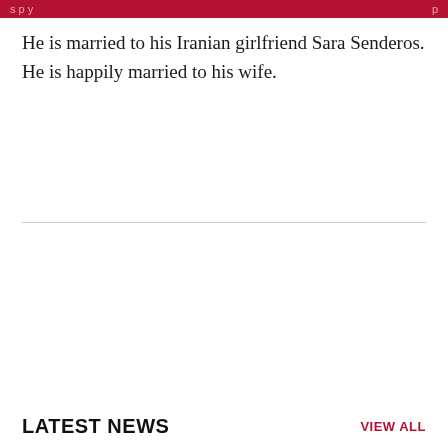He is married to his Iranian girlfriend Sara Senderos. He is happily married to his wife.
LATEST NEWS
VIEW ALL